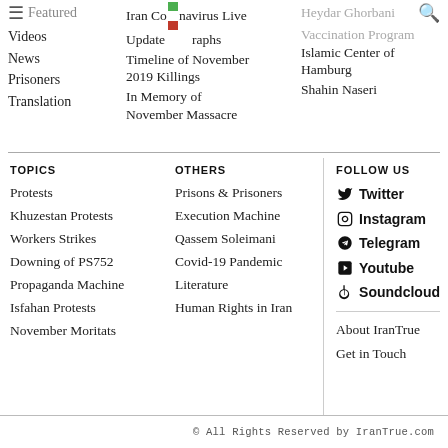Politics | Featured | Videos | News | Prisoners | Translation
Iran Coronavirus Live Update | Photographs | Heydar Ghorbani | Vaccination Program | Islamic Center of Hamburg | Shahin Naseri | Timeline of November 2019 Killings | In Memory of November Massacre
TOPICS
Protests
Khuzestan Protests
Workers Strikes
Downing of PS752
Propaganda Machine
Isfahan Protests
November Moritats
OTHERS
Prisons & Prisoners
Execution Machine
Qassem Soleimani
Covid-19 Pandemic
Literature
Human Rights in Iran
FOLLOW US
Twitter
Instagram
Telegram
Youtube
Soundcloud
About IranTrue
Get in Touch
© All Rights Reserved by IranTrue.com